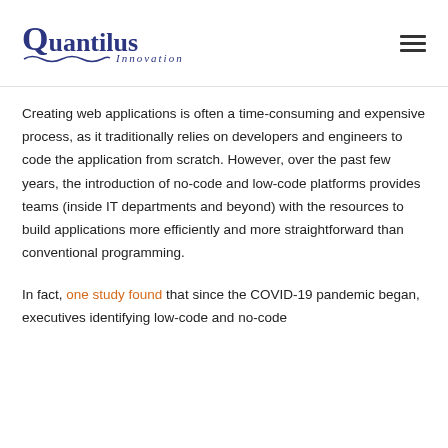Quantilus Innovation
Creating web applications is often a time-consuming and expensive process, as it traditionally relies on developers and engineers to code the application from scratch. However, over the past few years, the introduction of no-code and low-code platforms provides teams (inside IT departments and beyond) with the resources to build applications more efficiently and more straightforward than conventional programming.
In fact, one study found that since the COVID-19 pandemic began, executives identifying low-code and no-code